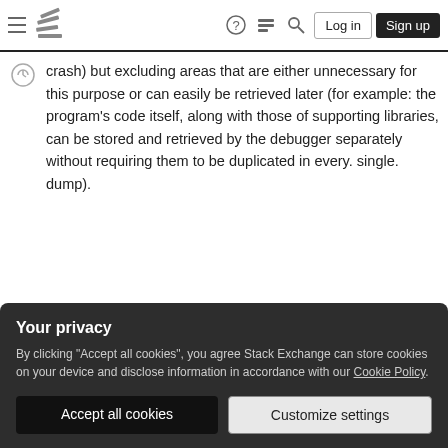Stack Exchange navigation bar with hamburger menu, logo, help, chat, search icons, Log in and Sign up buttons
crash) but excluding areas that are either unnecessary for this purpose or can easily be retrieved later (for example: the program's code itself, along with those of supporting libraries, can be stored and retrieved by the debugger separately without requiring them to be duplicated in every. single. dump).
This distinction is rather important because of how minidumps are created and the tooling involved in their use. Full dumps also exist, and not just for
Your privacy
By clicking "Accept all cookies", you agree Stack Exchange can store cookies on your device and disclose information in accordance with our Cookie Policy.
Accept all cookies   Customize settings